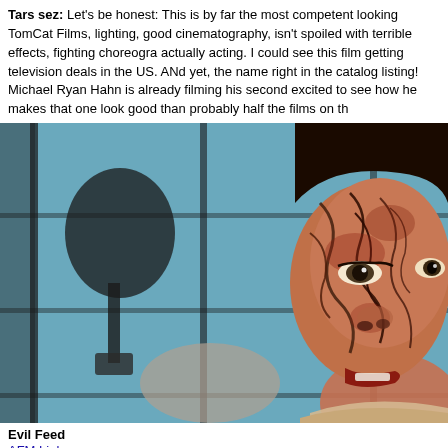Tars sez: Let's be honest: This is by far the most competent looking TomCat Films, lighting, good cinematography, isn't spoiled with terrible effects, fighting choreogra actually acting. I could see this film getting television deals in the US. ANd yet, the name right in the catalog listing! Michael Ryan Hahn is already filming his second excited to see how he makes that one look good than probably half the films on th
[Figure (photo): Close-up of a woman's face with heavy horror makeup — skin covered in dark veins and reddish-brown blood or wounds. She appears menacing, partially turned toward camera with a partial smile. Background shows a blurred blue-lit room with a tree silhouette and shoji screen panels.]
Evil Feed
AFM Link
NSFW YouTube Trailer Link – http://www.youtube.com/watch?v=l1hhxu_CCUw